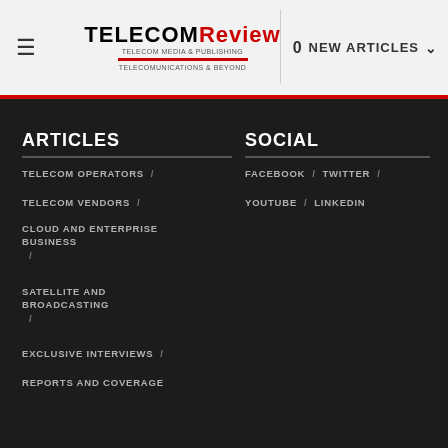TELECOM Review — 0 NEW ARTICLES
ARTICLES
TELECOM OPERATORS /
TELECOM VENDORS /
CLOUD AND ENTERPRISE BUSINESS /
SATELLITE AND BROADCASTING /
EXCLUSIVE INTERVIEWS /
REPORTS AND COVERAGE
SOCIAL
FACEBOOK / TWITTER /
YOUTUBE / LINKEDIN